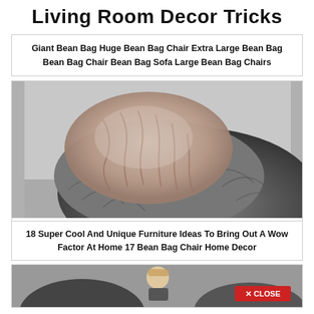Living Room Decor Tricks
Giant Bean Bag Huge Bean Bag Chair Extra Large Bean Bag Bean Bag Chair Bean Bag Sofa Large Bean Bag Chairs
[Figure (photo): Large gray fuzzy bean bag chair with a faux fur blanket draped over it]
18 Super Cool And Unique Furniture Ideas To Bring Out A Wow Factor At Home 17 Bean Bag Chair Home Decor
[Figure (photo): Partial view of another bean bag chair with a person and a red CLOSE button overlay]